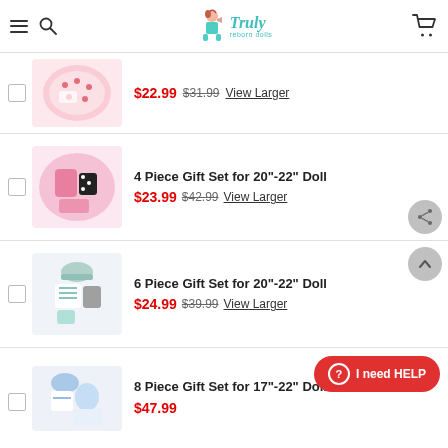Truly reborn dolls
$22.99 $31.99 View Larger
4 Piece Gift Set for 20"-22" Doll $23.99 $42.99 View Larger
6 Piece Gift Set for 20"-22" Doll $24.99 $39.99 View Larger
8 Piece Gift Set for 17"-22" Doll $47.99
I need HELP